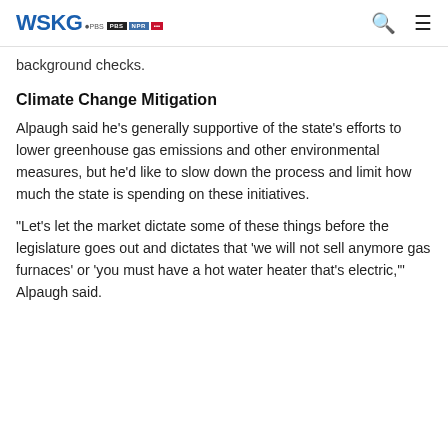WSKG | PBS | NPR
background checks.
Climate Change Mitigation
Alpaugh said he’s generally supportive of the state’s efforts to lower greenhouse gas emissions and other environmental measures, but he’d like to slow down the process and limit how much the state is spending on these initiatives.
“Let’s let the market dictate some of these things before the legislature goes out and dictates that ‘we will not sell anymore gas furnaces’ or ‘you must have a hot water heater that’s electric,’” Alpaugh said.